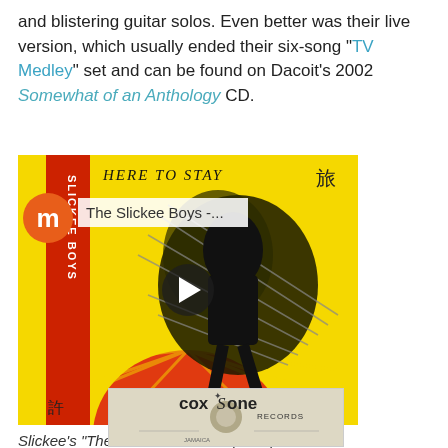and blistering guitar solos. Even better was their live version, which usually ended their six-song "TV Medley" set and can be found on Dacoit's 2002 Somewhat of an Anthology CD.
[Figure (screenshot): Embedded video player screenshot showing The Slickee Boys album art 'Here to Stay' with yellow background, red strip with band name, and a play button overlay. Orange circle with 'm' logo and title bar showing 'The Slickee Boys -...']
Slickee's "Theme from Exodus" (1988)
[Figure (photo): Coxsone Records vinyl record label, cream/off-white color with the Coxsone Records logo and text.]